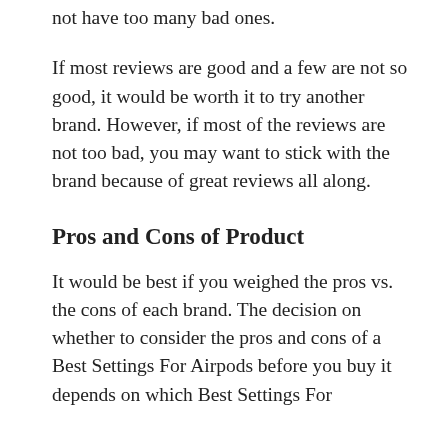not have too many bad ones.
If most reviews are good and a few are not so good, it would be worth it to try another brand. However, if most of the reviews are not too bad, you may want to stick with the brand because of great reviews all along.
Pros and Cons of Product
It would be best if you weighed the pros vs. the cons of each brand. The decision on whether to consider the pros and cons of a Best Settings For Airpods before you buy it depends on which Best Settings For